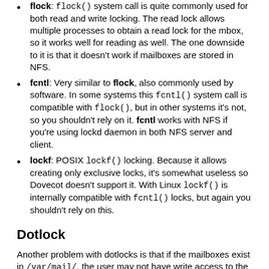flock: flock() system call is quite commonly used for both read and write locking. The read lock allows multiple processes to obtain a read lock for the mbox, so it works well for reading as well. The one downside to it is that it doesn't work if mailboxes are stored in NFS.
fcntl: Very similar to flock, also commonly used by software. In some systems this fcntl() system call is compatible with flock(), but in other systems it's not, so you shouldn't rely on it. fcntl works with NFS if you're using lockd daemon in both NFS server and client.
lockf: POSIX lockf() locking. Because it allows creating only exclusive locks, it's somewhat useless so Dovecot doesn't support it. With Linux lockf() is internally compatible with fcntl() locks, but again you shouldn't rely on this.
Dotlock
Another problem with dotlocks is that if the mailboxes exist in /var/mail/, the user may not have write access to the directory, so the dotlock file can't be created. There are a couple of ways to work around this: